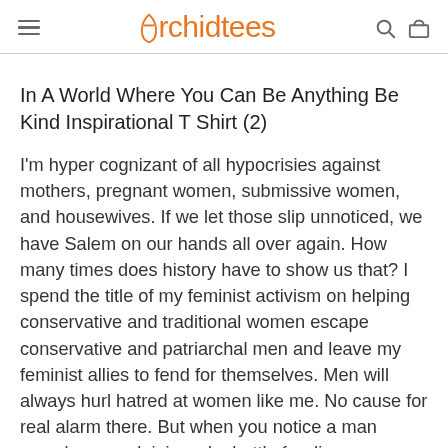Orchidtees
In A World Where You Can Be Anything Be Kind Inspirational T Shirt (2)
I'm hyper cognizant of all hypocrisies against mothers, pregnant women, submissive women, and housewives. If we let those slip unnoticed, we have Salem on our hands all over again. How many times does history have to show us that? I spend the title of my feminist activism on helping conservative and traditional women escape conservative and patriarchal men and leave my feminist allies to fend for themselves. Men will always hurl hatred at women like me. No cause for real alarm there. But when you notice a man smugly mansplaining why battle for dis...